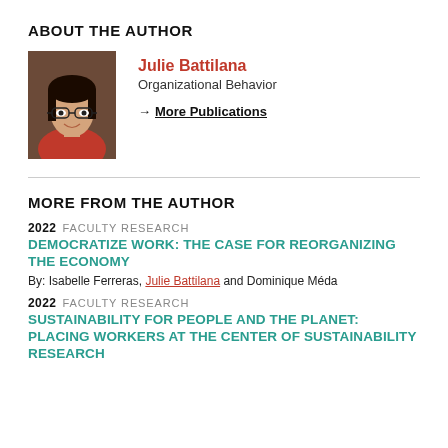ABOUT THE AUTHOR
[Figure (photo): Headshot photo of Julie Battilana, a woman with dark hair and glasses, smiling, wearing a red top]
Julie Battilana
Organizational Behavior
→ More Publications
MORE FROM THE AUTHOR
2022  FACULTY RESEARCH
DEMOCRATIZE WORK: THE CASE FOR REORGANIZING THE ECONOMY
By: Isabelle Ferreras, Julie Battilana and Dominique Méda
2022  FACULTY RESEARCH
SUSTAINABILITY FOR PEOPLE AND THE PLANET: PLACING WORKERS AT THE CENTER OF SUSTAINABILITY RESEARCH